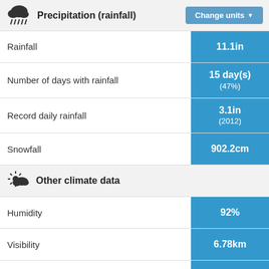Precipitation (rainfall)
| Metric | Value |
| --- | --- |
| Rainfall | 11.1in |
| Number of days with rainfall | 15 day(s)
(47%) |
| Record daily rainfall | 3.1in
(2012) |
| Snowfall | 902.2cm |
Other climate data
| Metric | Value |
| --- | --- |
| Humidity | 92% |
| Visibility | 6.78km |
| Cloud cover | 65% |
| UV index | 2 |